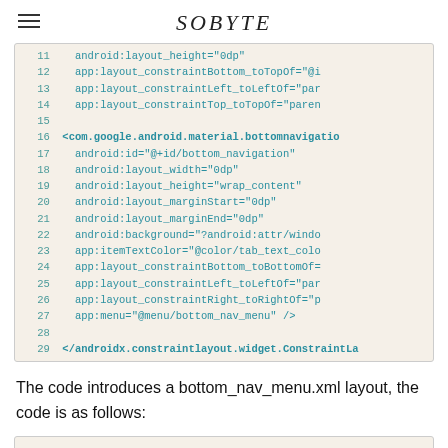SOBYTE
[Figure (screenshot): Code block showing XML layout lines 11-29 with Android ConstraintLayout and BottomNavigationView attributes in a monospace font on a beige background.]
The code introduces a bottom_nav_menu.xml layout, the code is as follows: